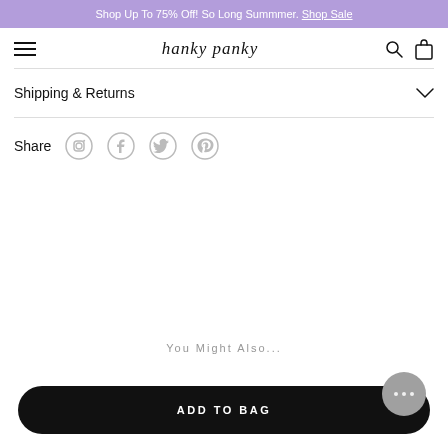Shop Up To 75% Off! So Long Summmer. Shop Sale
hanky panky
Shipping & Returns
Share
You Might Also...
ADD TO BAG